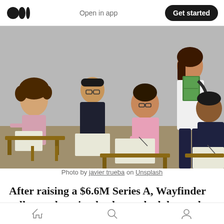Medium logo | Open in app | Get started
[Figure (photo): Students sitting at desks in a classroom. A woman in a pink top with glasses is writing. A woman in a white blouse holds green notebooks and a backpack. Other students are visible in the background.]
Photo by javier trueba on Unsplash
After raising a $6.6M Series A, Wayfinder calls on education leaders to look beyond the crisis of the
Home | Search | Profile